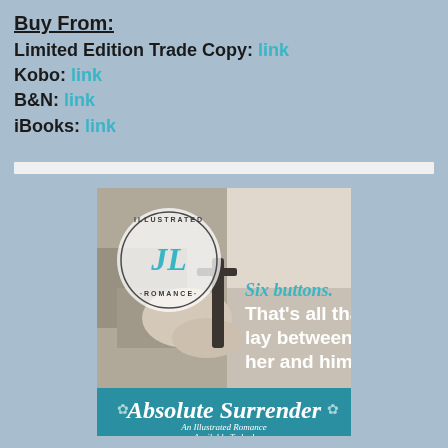Buy From:
Limited Edition Trade Copy: link
Kobo: link
B&N: link
iBooks: link
[Figure (illustration): Book promotional image for 'Absolute Surrender: An Illustrated Romance' by JennLeBlanc.com. Features a close-up black-and-white photo of hands on fabric with the JL Illustrated Romance logo, and text overlay reading 'Six buttons. That's all that lay between her and him.' with a teal banner at the bottom reading 'Absolute Surrender An Illustrated Romance Available Today! www.JennLeBlanc.com']